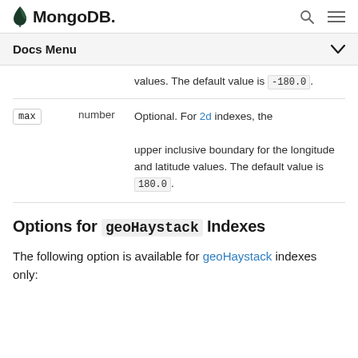MongoDB
Docs Menu
| Parameter | Type | Description |
| --- | --- | --- |
|  |  | values. The default value is -180.0. |
| max | number | Optional. For 2d indexes, the upper inclusive boundary for the longitude and latitude values. The default value is 180.0. |
Options for geoHaystack Indexes
The following option is available for geoHaystack indexes only: